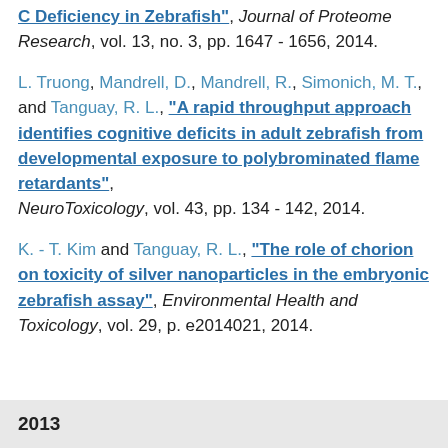C Deficiency in Zebrafish", Journal of Proteome Research, vol. 13, no. 3, pp. 1647 - 1656, 2014.
L. Truong, Mandrell, D., Mandrell, R., Simonich, M. T., and Tanguay, R. L., "A rapid throughput approach identifies cognitive deficits in adult zebrafish from developmental exposure to polybrominated flame retardants", NeuroToxicology, vol. 43, pp. 134 - 142, 2014.
K. - T. Kim and Tanguay, R. L., "The role of chorion on toxicity of silver nanoparticles in the embryonic zebrafish assay", Environmental Health and Toxicology, vol. 29, p. e2014021, 2014.
2013